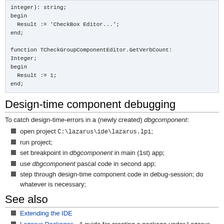integer): string;
begin
  Result := 'CheckBox Editor...';
end;

function TCheckGroupComponentEditor.GetVerbCount:
Integer;
begin
  Result := 1;
end;
Design-time component debugging
To catch design-time-errors in a (newly created) dbgcomponent:
open project C:\lazarus\ide\lazarus.lpi;
run project;
set breakpoint in dbgcomponent in main (1st) app;
use dbgcomponent pascal code in second app;
step through design-time component code in debug-session; do whatever is necessary;
See also
Extending the IDE
Lazarus Packages - A guide for creating a package under Lazarus
Components and Code examples